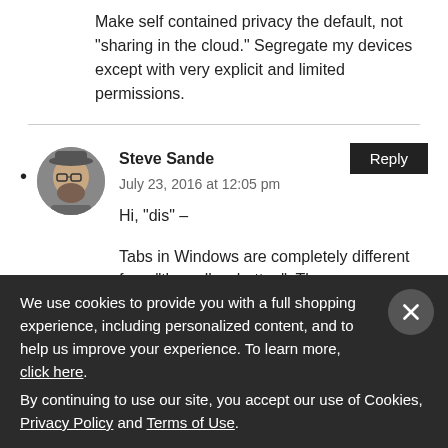Make self contained privacy the default, not “sharing in the cloud.” Segregate my devices except with very explicit and limited permissions.
Steve Sande — July 23, 2016 at 12:05 pm — Hi, “dis” – — Tabs in Windows are completely different from “the yellow button”. The
We use cookies to provide you with a full shopping experience, including personalized content, and to help us improve your experience. To learn more, click here.
By continuing to use our site, you accept our use of Cookies, Privacy Policy and Terms of Use.